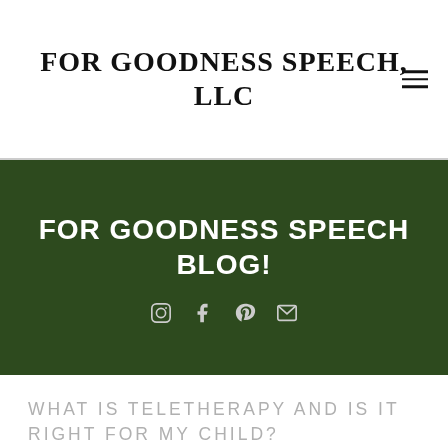FOR GOODNESS SPEECH, LLC
FOR GOODNESS SPEECH BLOG!
[Figure (infographic): Social media icons: Instagram, Facebook, Pinterest, Email on dark green banner]
WHAT IS TELETHERAPY AND IS IT RIGHT FOR MY CHILD?